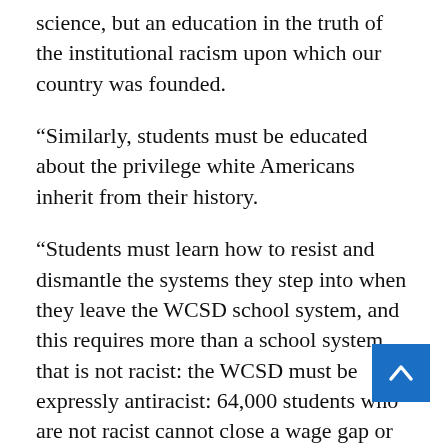science, but an education in the truth of the institutional racism upon which our country was founded.
“Similarly, students must be educated about the privilege white Americans inherit from their history.
“Students must learn how to resist and dismantle the systems they step into when they leave the WCSD school system, and this requires more than a school system that is not racist: the WCSD must be expressly antiracist: 64,000 students who are not racist cannot close a wage gap or end police violence, but 64,000 anti-racists can.”Karen England, Nevada Family Alliance: “Considering convenient WCSD Students for Change is for th— district…